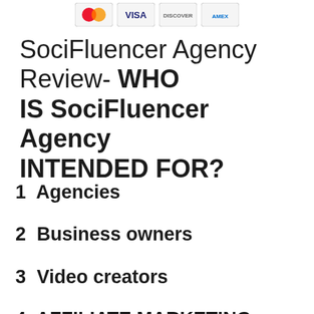[Figure (other): Payment method icons: Mastercard, Visa, and two other card logos displayed in a row at the top of the page]
SociFluencer Agency Review- WHO IS SociFluencer Agency INTENDED FOR?
1  Agencies
2  Business owners
3  Video creators
4  AFFILIATE MARKETING